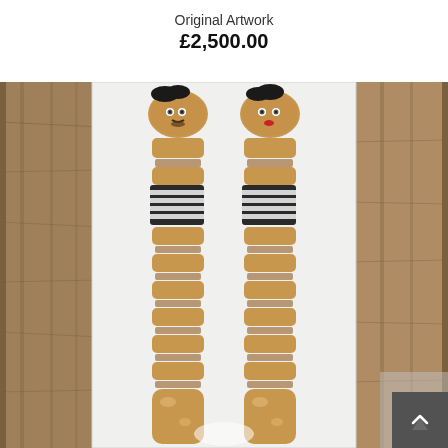Original Artwork
£2,500.00
[Figure (photo): Framed artwork featuring two knitted/woven caterpillar-like figures with faces, black hair, and horizontal striped band around their middles, displayed in a white frame against a wooden background.]